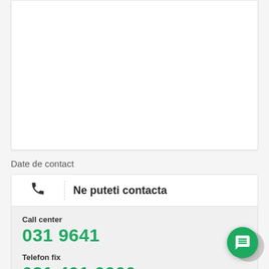[Figure (other): White empty content box with border]
Date de contact
|  | Ne puteti contacta |
| --- | --- |
| Call center | 031 9641 |
| Telefon fix | 031 401 0000 |